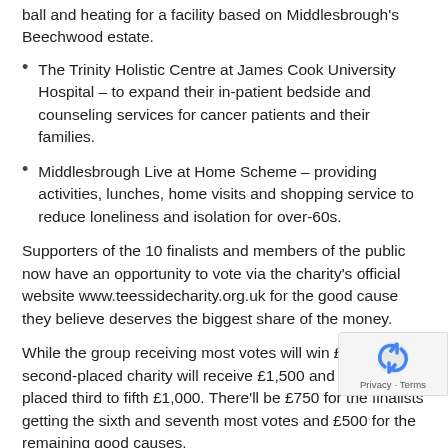ball and heating for a facility based on Middlesbrough's Beechwood estate.
The Trinity Holistic Centre at James Cook University Hospital – to expand their in-patient bedside and counseling services for cancer patients and their families.
Middlesbrough Live at Home Scheme – providing activities, lunches, home visits and shopping service to reduce loneliness and isolation for over-60s.
Supporters of the 10 finalists and members of the public now have an opportunity to vote via the charity's official website www.teessidecharity.org.uk for the good cause they believe deserves the biggest share of the money.
While the group receiving most votes will win £2,500, the second-placed charity will receive £1,500 and those placed third to fifth £1,000. There'll be £750 for the finalists getting the sixth and seventh most votes and £500 for the remaining good causes.
The Foundation's trustees also agreed to give £250 each